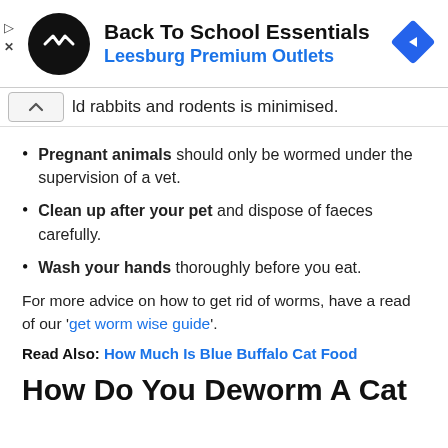[Figure (other): Advertisement banner for Back To School Essentials at Leesburg Premium Outlets with logo and navigation arrow icon]
ld rabbits and rodents is minimised.
Pregnant animals should only be wormed under the supervision of a vet.
Clean up after your pet and dispose of faeces carefully.
Wash your hands thoroughly before you eat.
For more advice on how to get rid of worms, have a read of our 'get worm wise guide'.
Read Also: How Much Is Blue Buffalo Cat Food
How Do You Deworm A Cat